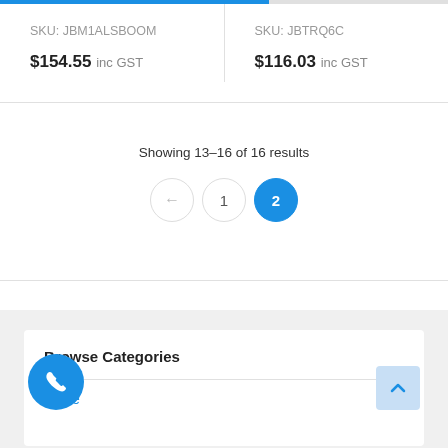SKU: JBM1ALSBOOM
$154.55 inc GST
SKU: JBTRQ6C
$116.03 inc GST
Showing 13–16 of 16 results
← 1 2
Browse Categories
Apple